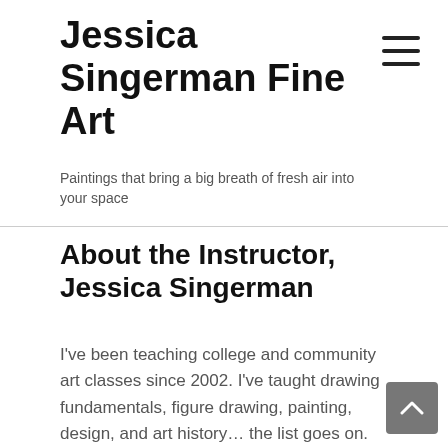Jessica Singerman Fine Art
Paintings that bring a big breath of fresh air into your space
About the Instructor, Jessica Singerman
I've been teaching college and community art classes since 2002. I've taught drawing fundamentals, figure drawing, painting, design, and art history… the list goes on. And I used to be a yoga instructor as well. Teaching is my way of giving back to my community by sharing my knowledge and love of art.